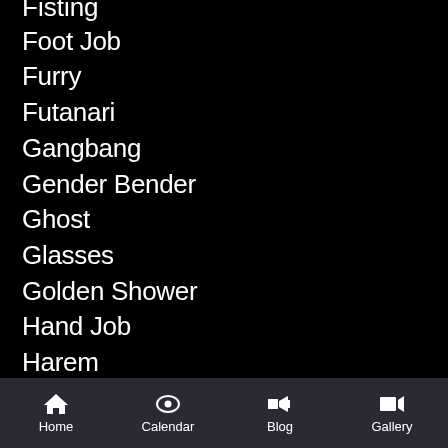Fisting
Foot Job
Furry
Futanari
Gangbang
Gender Bender
Ghost
Glasses
Golden Shower
Hand Job
Harem
HentaiHaven
Horror
Huge Boobs
Hypnosis
Impregnation
Home   Calendar   Blog   Gallery